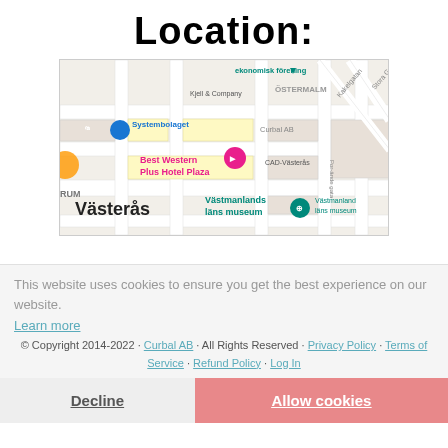Location:
[Figure (map): Google Maps screenshot showing Västerås city center area with landmarks including Systembolaget, Best Western Plus Hotel Plaza, Västmanlands läns museum, CAD-Västerås, Curbal AB, Kjell & Company, ekonomisk förening, street names Kakelgatan, Stora Gata, Por-ände gata.]
This website uses cookies to ensure you get the best experience on our website.
Learn more
© Copyright 2014-2022 · Curbal AB · All Rights Reserved · Privacy Policy · Terms of Service · Refund Policy · Log In
Decline
Allow cookies